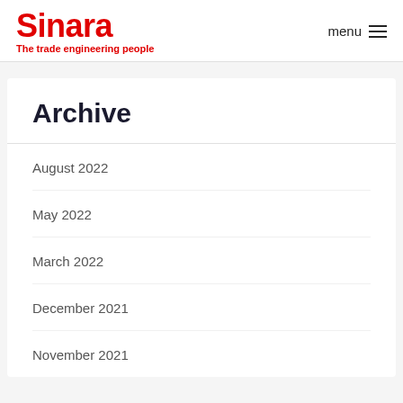Sinara — The trade engineering people | menu
Archive
August 2022
May 2022
March 2022
December 2021
November 2021